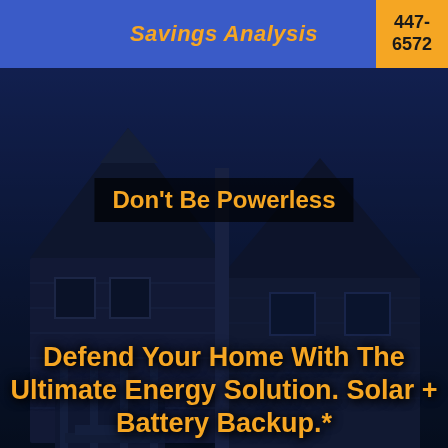Savings Analysis
447-6572
[Figure (photo): Dark nighttime photo of a two-story residential house with blue siding and a triangular roof, set against a stormy dark blue sky]
Don't Be Powerless
Defend Your Home With The Ultimate Energy Solution. Solar + Battery Backup.*